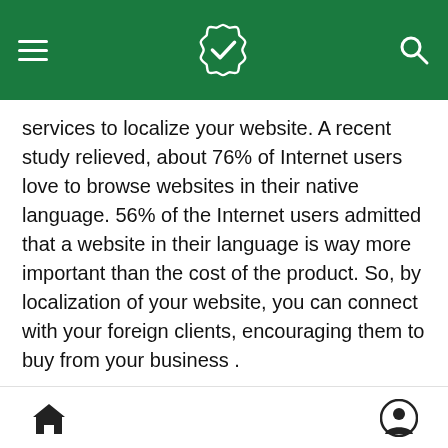navigation bar with hamburger menu, logo with checkmark, and search icon
services to localize your website. A recent study relieved, about 76% of Internet users love to browse websites in their native language. 56% of the Internet users admitted that a website in their language is way more important than the cost of the product. So, by localization of your website, you can connect with your foreign clients, encouraging them to buy from your business .
Localized Website is Way More Effective Than Automated Translated Website
In this era of globalization, consumers are interested in businesses that are interested in 24*7 services. If you are targeting a specific audience, then it is
home icon and user profile icon